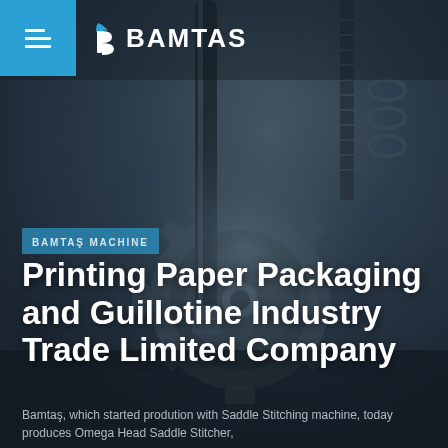[Figure (photo): Dark blue-toned close-up photo of industrial machinery parts including gears, metal rods and threaded components, serving as a full-page background image]
BAMTAŞ (logo with hamburger menu icon)
BAMTAŞ MACHINE
Printing Paper Packaging and Guillotine Industry Trade Limited Company
Bamtaş, which started prodution with Saddle Stitching machine, today produces Omega Head Saddle Stitcher,